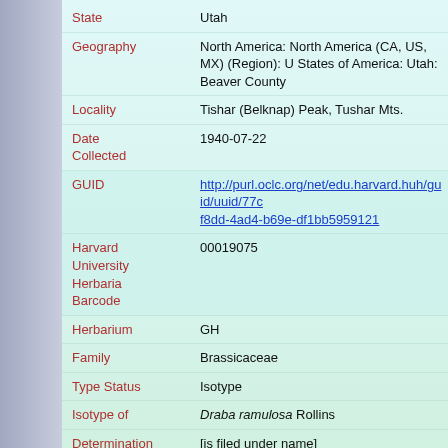| Field | Value |
| --- | --- |
| State | Utah |
| Geography | North America: North America (CA, US, MX) (Region): United States of America: Utah: Beaver County |
| Locality | Tishar (Belknap) Peak, Tushar Mts. |
| Date Collected | 1940-07-22 |
| GUID | http://purl.oclc.org/net/edu.harvard.huh/guid/uuid/77cd-f8dd-4ad4-b69e-df1bb5959121 |
| Harvard University Herbaria Barcode | 00019075 |
| Herbarium | GH |
| Family | Brassicaceae |
| Type Status | Isotype |
| Isotype of | Draba ramulosa Rollins |
| Determination Remarks | [is filed under name] |
| Taxon Reference | (for Draba ramulosa Rollins) Contr. Gray Herb. 1984. 6. |
| Sex | not determined |
| Phenology | Fruit |